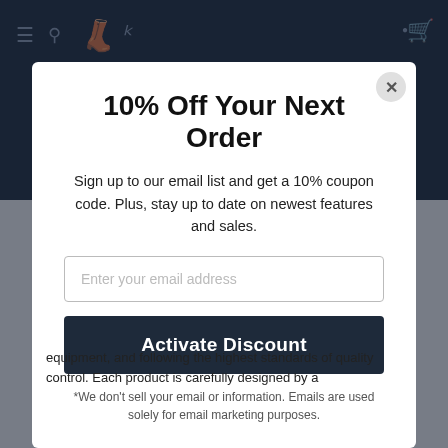[Figure (screenshot): E-commerce website navigation bar with hamburger menu, search icon, stylized boot logo, and cart icon on dark navy background]
10% Off Your Next Order
Sign up to our email list and get a 10% coupon code. Plus, stay up to date on newest features and sales.
Enter your email address
Activate Discount
*We don't sell your email or information. Emails are used solely for email marketing purposes.
equipment, and following the highest standards of quality control. Each product is carefully designed by a